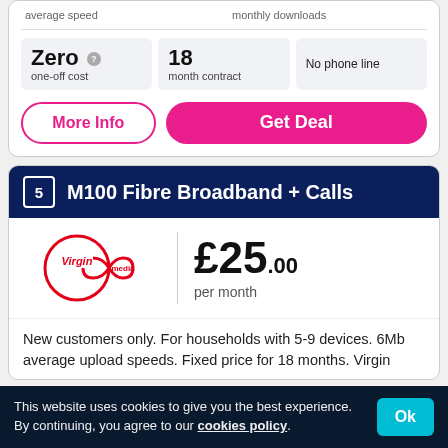average speed | monthly downloads
Zero one-off cost | 18 month contract | No phone line
More Info
Get Deal
5 M100 Fibre Broadband + Calls
[Figure (logo): Virgin Media logo]
£25.00 per month
New customers only. For households with 5-9 devices. 6Mb average upload speeds. Fixed price for 18 months. Virgin
This website uses cookies to give you the best experience. By continuing, you agree to our cookies policy.